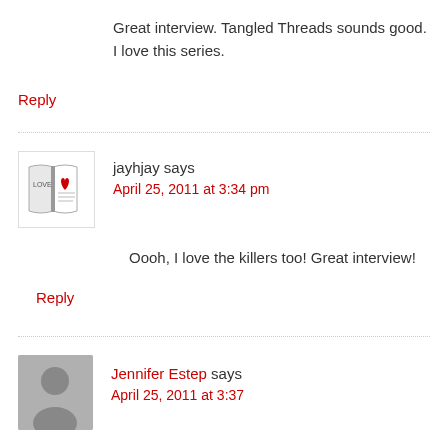Great interview. Tangled Threads sounds good. I love this series.
Reply
jayhjay says
April 25, 2011 at 3:34 pm
Oooh, I love the killers too! Great interview!
Reply
Jennifer Estep says
April 25, 2011 at 3:37